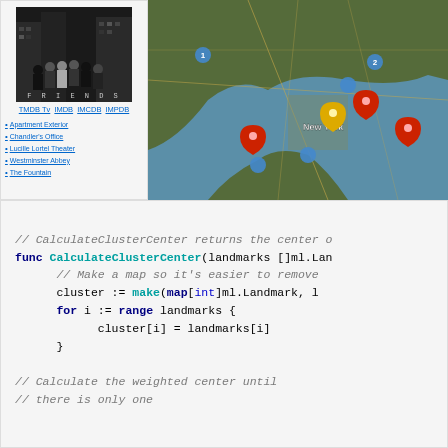[Figure (screenshot): Friends TV show poster showing cast members in formal attire, with FRIENDS title text]
TMDB Tv IMDB IMCDB IMPDB
Apartment Exterior
Chandler's Office
Lucille Lortel Theater
Westminster Abbey
The Fountain
[Figure (map): Google Maps view of New York area with colored pin markers (blue, red, yellow) indicating filming locations]
[Figure (screenshot): Go code screenshot showing CalculateClusterCenter function with comments and code body]